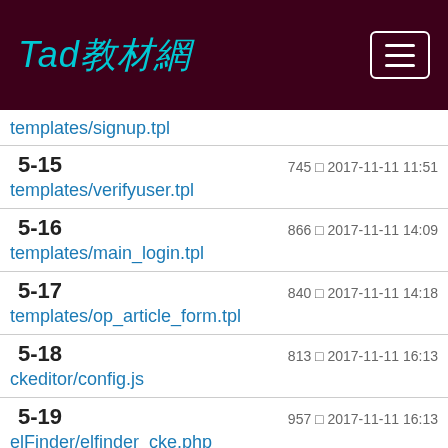Tad教材網
templates/signup.tpl
5-15
templates/verifyuser.tpl	745 □ 2017-11-11 11:51
5-16
templates/main_login.tpl	866 □ 2017-11-11 14:09
5-17
templates/op_article_form.tpl	840 □ 2017-11-11 14:18
5-18
ckeditor/config.js	813 □ 2017-11-11 16:13
5-19
elFinder/elfinder_cke.php	957 □ 2017-11-11 16:13
6. □□□□□□□□□□□	1866 □ 2017-11-18 16:36
6-1 admin.php	1351 □ 2017-11-18 16:25